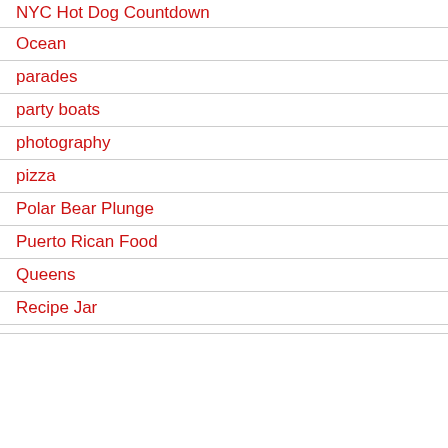NYC Hot Dog Countdown
Ocean
parades
party boats
photography
pizza
Polar Bear Plunge
Puerto Rican Food
Queens
Recipe Jar